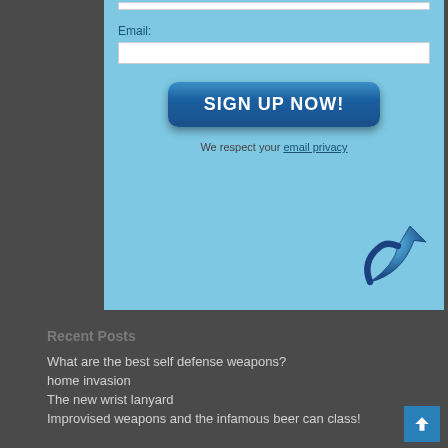[Figure (screenshot): Email signup form with light blue background, email input field, 'SIGN UP NOW!' button, privacy text, and a blue arrow icon in the bottom right]
Recent Posts
What are the best self defense weapons?
home invasion
The new wrist lanyard
Improvised weapons and the infamous beer can class!